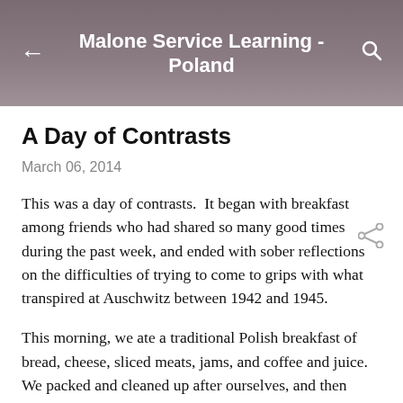Malone Service Learning - Poland
A Day of Contrasts
March 06, 2014
This was a day of contrasts.  It began with breakfast among friends who had shared so many good times during the past week, and ended with sober reflections on the difficulties of trying to come to grips with what transpired at Auschwitz between 1942 and 1945.
This morning, we ate a traditional Polish breakfast of bread, cheese, sliced meats, jams, and coffee and juice.  We packed and cleaned up after ourselves, and then loaded the cars and trailers for our trip to Oswiecim.  The trip was uneventful The day was overcast and colder than any on our trip so far, only in the mid-